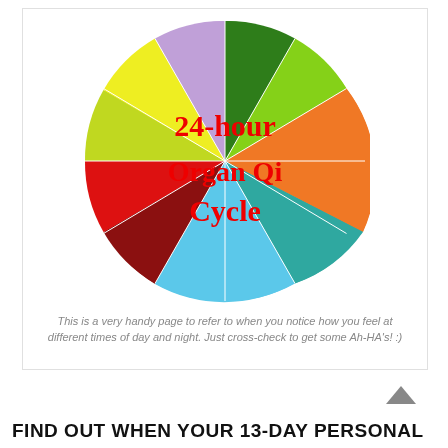[Figure (pie-chart): A colorful pie chart divided into 12 segments representing the 24-hour organ Qi cycle in Traditional Chinese Medicine. The chart has a large red text label 'Organ Qi Cycle' overlaid in the center. Each segment is a different color: green, lime green, orange, teal/dark cyan, light blue, dark red, red, yellow-green, yellow, lavender/purple, pink, dark green.]
This is a very handy page to refer to when you notice how you feel at different times of day and night. Just cross-check to get some Ah-HA's! :)
FIND OUT WHEN YOUR 13-DAY PERSONAL